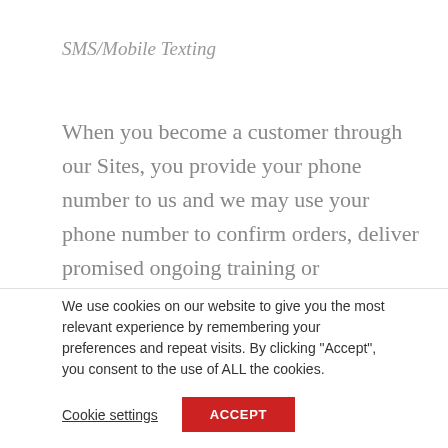SMS/Mobile Texting
When you become a customer through our Sites, you provide your phone number to us and we may use your phone number to confirm orders, deliver promised ongoing training or communication, and to send text updates, promotions, videos, audios, or messages related to Significans Automation or any of his
We use cookies on our website to give you the most relevant experience by remembering your preferences and repeat visits. By clicking "Accept", you consent to the use of ALL the cookies.
Cookie settings
ACCEPT